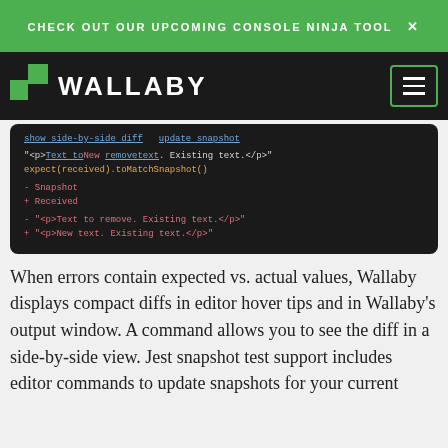CHECK OUT OUR UPCOMING CONSOLE NINJA TOOL ✕
WALLABY
[Figure (screenshot): Code editor screenshot showing Jest snapshot diff output with 'show side-by-side diff' and 'update snapshot' links, expect(received).toMatchSnapshot() call, and minus/plus diff lines showing old and new HTML strings.]
When errors contain expected vs. actual values, Wallaby displays compact diffs in editor hover tips and in Wallaby's output window. A command allows you to see the diff in a side-by-side view. Jest snapshot test support includes editor commands to update snapshots for your current